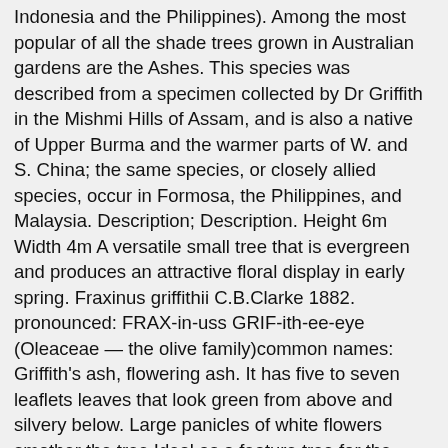Indonesia and the Philippines). Among the most popular of all the shade trees grown in Australian gardens are the Ashes. This species was described from a specimen collected by Dr Griffith in the Mishmi Hills of Assam, and is also a native of Upper Burma and the warmer parts of W. and S. China; the same species, or closely allied species, occur in Formosa, the Philippines, and Malaysia. Description; Description. Height 6m Width 4m A versatile small tree that is evergreen and produces an attractive floral display in early spring. Fraxinus griffithii C.B.Clarke 1882. pronounced: FRAX-in-uss GRIF-ith-ee-eye (Oleaceae — the olive family)common names: Griffith's ash, flowering ash. It has five to seven leaflets leaves that look green from above and silvery below. Large panicles of white flowers smother the tree Ideal as a feature tree for the garden, parks or street planting. These flowers have four small petals and two stamens. Also forms a nice standard. Habit: Upright Est. Accessed 2020-12-03. Home / Products / Fraxinus griffithii. Description Fraxinus Griffithii – Evergreen Flowering Ash is a quick growing, small tree; evergreen except in